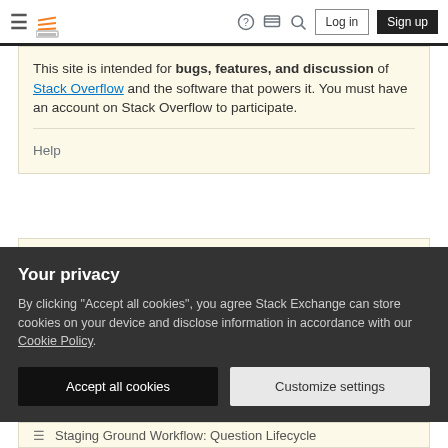Stack Overflow navigation bar with hamburger menu, logo, help, chat, search icons, Log in and Sign up buttons
This site is intended for bugs, features, and discussion of Stack Overflow and the software that powers it. You must have an account on Stack Overflow to participate.
Help
The Overflow Blog
Combining the best of engineering cultures from Silicon Valley and Shanghai...
The last technical interview you'll ever take (Ep. 474)
Your privacy
By clicking "Accept all cookies", you agree Stack Exchange can store cookies on your device and disclose information in accordance with our Cookie Policy.
Accept all cookies | Customize settings
Staging Ground Workflow: Question Lifecycle